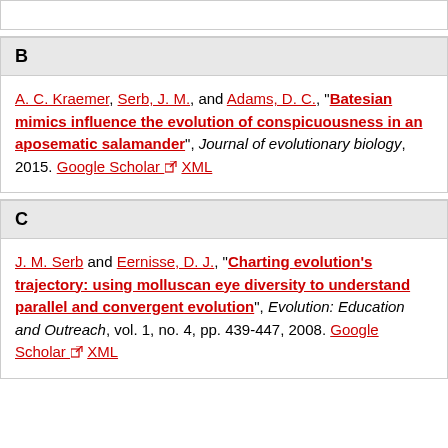B
A. C. Kraemer, Serb, J. M., and Adams, D. C., “Batesian mimics influence the evolution of conspicuousness in an aposematic salamander”, Journal of evolutionary biology, 2015. Google Scholar XML
C
J. M. Serb and Eernisse, D. J., “Charting evolution’s trajectory: using molluscan eye diversity to understand parallel and convergent evolution”, Evolution: Education and Outreach, vol. 1, no. 4, pp. 439-447, 2008. Google Scholar XML